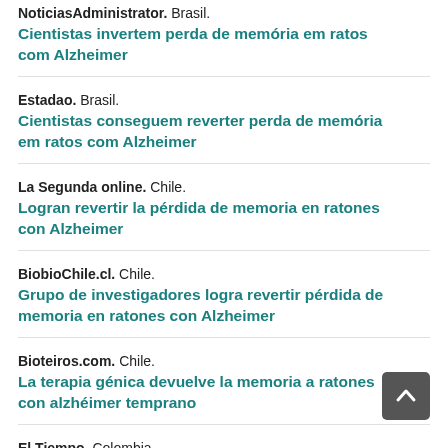NoticiasAdministrator. Brasil. Cientistas invertem perda de memória em ratos com Alzheimer
Estadao. Brasil. Cientistas conseguem reverter perda de memória em ratos com Alzheimer
La Segunda online. Chile. Logran revertir la pérdida de memoria en ratones con Alzheimer
BiobioChile.cl. Chile. Grupo de investigadores logra revertir pérdida de memoria en ratones con Alzheimer
Bioteiros.com. Chile. La terapia génica devuelve la memoria a ratones con alzhéimer temprano
El Tiempo. Colombia. Logran revertir la pérdida de memoria en ratones con Alzheimer